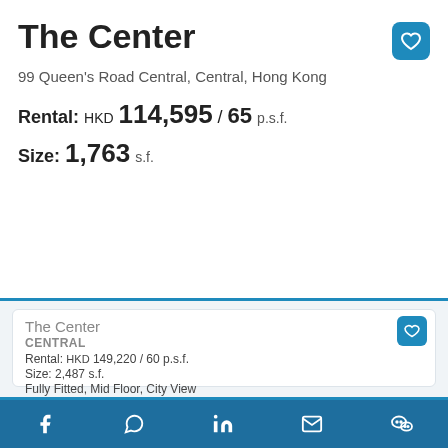The Center
99 Queen's Road Central, Central, Hong Kong
Rental: HKD 114,595 / 65 p.s.f.
Size: 1,763 s.f.
The Center
CENTRAL
Rental: HKD 149,220 / 60 p.s.f.
Size: 2,487 s.f.
Fully Fitted, Mid Floor, City View
Prop.#: 1049
This website uses cookies to ensure its efficient functioning and you get the best experience on our
Accept